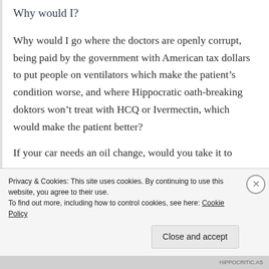Why would I?
Why would I go where the doctors are openly corrupt, being paid by the government with American tax dollars to put people on ventilators which make the patient’s condition worse, and where Hippocratic oath-breaking doktors won’t treat with HCQ or Ivermectin, which would make the patient better?
If your car needs an oil change, would you take it to
Privacy & Cookies: This site uses cookies. By continuing to use this website, you agree to their use.
To find out more, including how to control cookies, see here: Cookie Policy
Close and accept